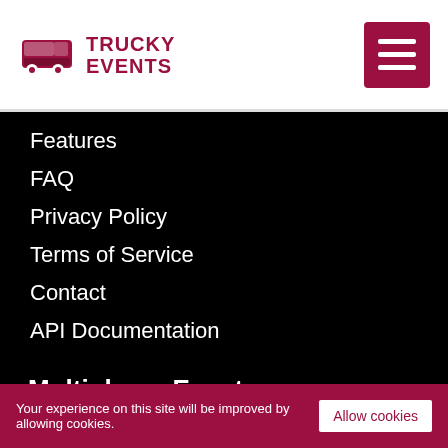TRUCKY EVENTS
Features
FAQ
Privacy Policy
Terms of Service
Contact
API Documentation
Multiplayer Events
Your experience on this site will be improved by allowing cookies.